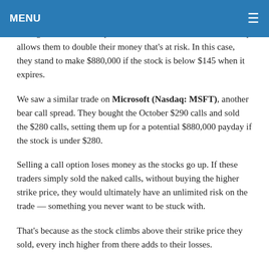MENU ≡
They traded the October 15, 2021 calls, buying the $150s and selling the $145s. This spread trade limits their risk and basically allows them to double their money that's at risk. In this case, they stand to make $880,000 if the stock is below $145 when it expires.
We saw a similar trade on Microsoft (Nasdaq: MSFT), another bear call spread. They bought the October $290 calls and sold the $280 calls, setting them up for a potential $880,000 payday if the stock is under $280.
Selling a call option loses money as the stocks go up. If these traders simply sold the naked calls, without buying the higher strike price, they would ultimately have an unlimited risk on the trade — something you never want to be stuck with.
That's because as the stock climbs above their strike price they sold, every inch higher from there adds to their losses.